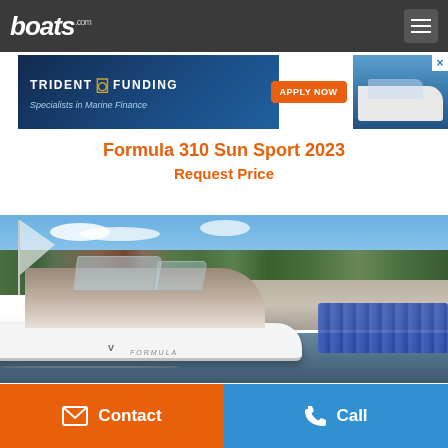boats.com
[Figure (screenshot): Trident Funding advertisement banner - Specialists in Marine Finance with Apply Now button and boat image]
Formula 310 Sun Sport 2023
Request Price
[Figure (photo): Formula 310 Sun Sport 2023 boat docked at a marina with other boats, blue mooring balls, trees and buildings in the background, and water in the foreground]
Contact
Call